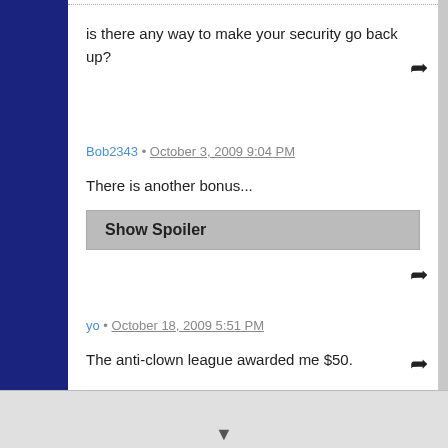is there any way to make your security go back up?
Bob2343 • October 3, 2009 9:04 PM
There is another bonus...
Show Spoiler
yo • October 18, 2009 5:51 PM
The anti-clown league awarded me $50.